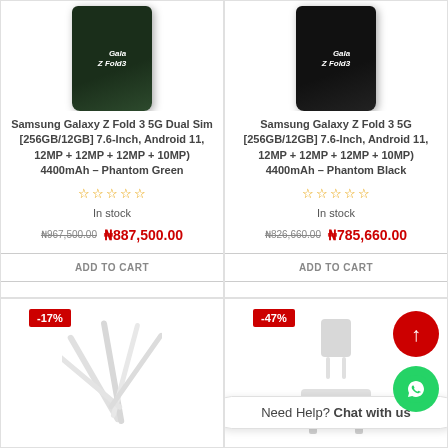[Figure (photo): Samsung Galaxy Z Fold 3 5G phone folded, Phantom Green color]
Samsung Galaxy Z Fold 3 5G Dual Sim [256GB/12GB] 7.6-Inch, Android 11, 12MP + 12MP + 12MP + 10MP) 4400mAh – Phantom Green
In stock
₦967,500.00  ₦887,500.00
[Figure (photo): Samsung Galaxy Z Fold 3 5G phone folded, Phantom Black color]
Samsung Galaxy Z Fold 3 5G [256GB/12GB] 7.6-Inch, Android 11, 12MP + 12MP + 12MP + 10MP) 4400mAh – Phantom Black
In stock
₦826,660.00  ₦785,660.00
[Figure (photo): Stylus pen accessories, light gray color]
[Figure (photo): Charger/adapter accessories, light gray color]
Need Help? Chat with us